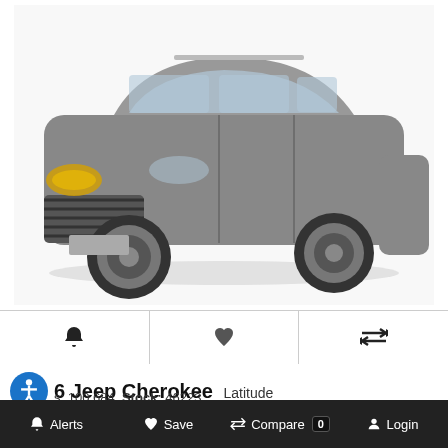[Figure (photo): Gray 2016 Jeep Cherokee Latitude SUV photographed from front-left angle on white background]
🔔  ♥  ⇄
16 Jeep Cherokee Latitude
s: 100,684   Stock: 46223
Price: $18,990
Alerts   Save   Compare 0   Login